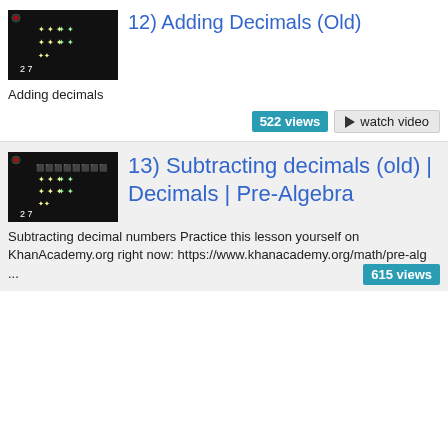[Figure (screenshot): Thumbnail image of a dark chalkboard-style math video]
12) Adding Decimals (Old)
Adding decimals
522 views
watch video
[Figure (screenshot): Thumbnail image of a dark chalkboard-style math video]
13) Subtracting decimals (old) | Decimals | Pre-Algebra
Subtracting decimal numbers Practice this lesson yourself on KhanAcademy.org right now: https://www.khanacademy.org/math/pre-alg ...
615 views